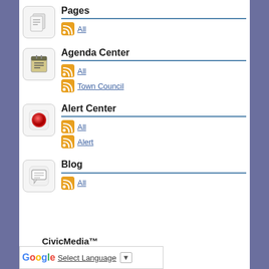Pages
All
Agenda Center
All
Town Council
Alert Center
All
Alert
Blog
All
CivicMedia™
Select Language